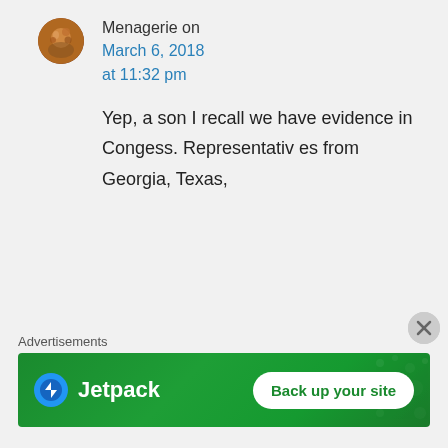[Figure (photo): User avatar for Menagerie — circular profile photo with warm brown/orange tones]
Menagerie on March 6, 2018 at 11:32 pm
Yep, a son I recall we have evidence in Congess. Representatives from Georgia, Texas,
Advertisements
[Figure (logo): Jetpack advertisement banner — green background, Jetpack logo on left, 'Back up your site' button on right]